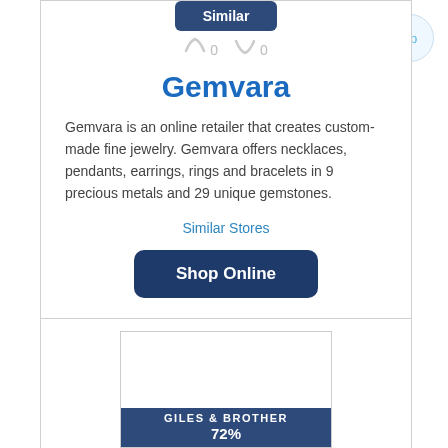[Figure (screenshot): Up button - circular light blue button with 'up' text in top right corner]
[Figure (screenshot): Similar button - dark navy blue rounded rectangle button with 'Similar' text]
[Figure (screenshot): Two vote arrow icons with 0 counts each]
Gemvara
Gemvara is an online retailer that creates custom-made fine jewelry. Gemvara offers necklaces, pendants, earrings, rings and bracelets in 9 precious metals and 29 unique gemstones.
Similar Stores
[Figure (screenshot): Shop Online dark navy blue button]
[Figure (screenshot): Giles & Brother store card with white image area and dark navy banner showing GILES & BROTHER text and 72%]